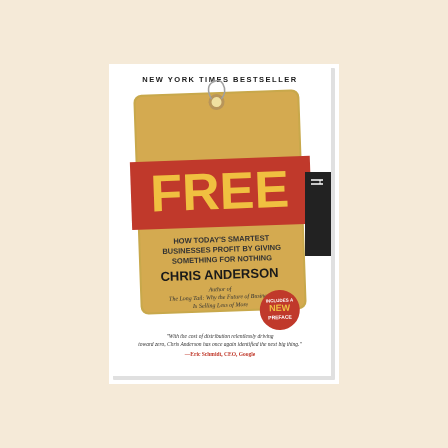[Figure (illustration): Book cover of 'Free: How Today's Smartest Businesses Profit by Giving Something for Nothing' by Chris Anderson. The cover depicts a golden price tag with a red banner reading 'FREE' in large yellow letters. Above the tag it says 'NEW YORK TIMES BESTSELLER'. The tag shows the subtitle 'How Today's Smartest Businesses Profit by Giving Something for Nothing' and the author name 'Chris Anderson'. Below that it says 'Author of The Long Tail: Why the Future of Business Is Selling Less of More'. A red circular badge says 'INCLUDES A NEW PREFACE'. At the bottom is a quote from Eric Schmidt, CEO, Google. A dark sidebar tab appears on the right edge.]